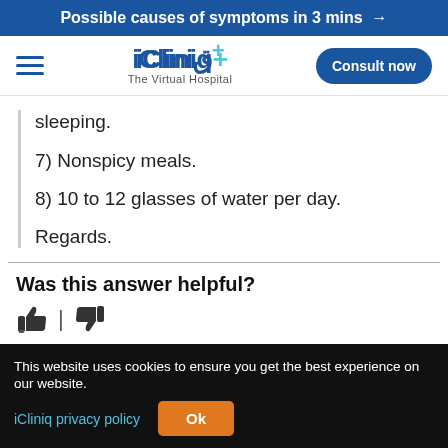Possible causes of symptoms in 3 mins →
[Figure (logo): iCliniq+ The Virtual Hospital logo with hamburger menu and Consult now button]
sleeping.
7) Nonspicy meals.
8) 10 to 12 glasses of water per day.
Regards.
Was this answer helpful?
Same symptoms doesn't mean you have the same problem. Consult a doctor now!
This website uses cookies to ensure you get the best experience on our website. iCliniq privacy policy  Ok